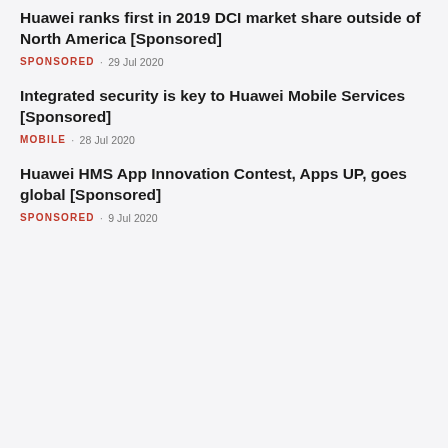Huawei ranks first in 2019 DCI market share outside of North America [Sponsored]
SPONSORED · 29 Jul 2020
Integrated security is key to Huawei Mobile Services [Sponsored]
MOBILE · 28 Jul 2020
Huawei HMS App Innovation Contest, Apps UP, goes global [Sponsored]
SPONSORED · 9 Jul 2020